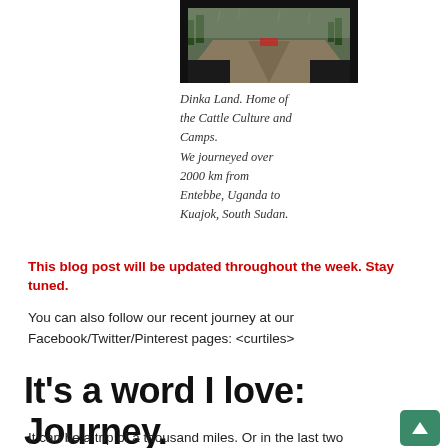[Figure (photo): View from inside a vehicle looking through the windshield at a road with trees on the sides, taken from Entebbe Uganda to Kuajok South Sudan.]
Dinka Land. Home of the Cattle Culture and Camps.
We journeyed over 2000 km from Entebbe, Uganda to Kuajok, South Sudan.
This blog post will be updated throughout the week. Stay tuned.
You can also follow our recent journey at our Facebook/Twitter/Pinterest pages:  <curtiles>
It's a word I love:   Journey.
It can be a trip of a thousand miles.  Or in the last two weeks, 2000